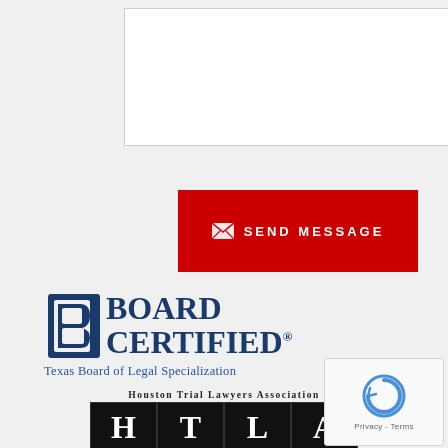[Figure (other): Textarea input box for message]
[Figure (other): Red SEND MESSAGE button with envelope icon]
[Figure (logo): Board Certified - Texas Board of Legal Specialization logo with stylized B icon]
[Figure (logo): Houston Trial Lawyers Association (HTLA) logo with block letters]
[Figure (other): reCAPTCHA widget with Privacy and Terms links]